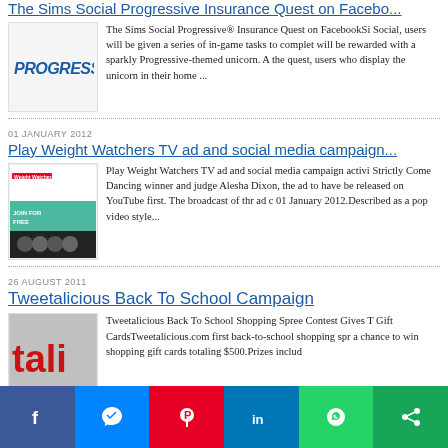The Sims Social Progressive Insurance Quest on Facebook
[Figure (logo): Progressive insurance logo in blue italic text]
The Sims Social Progressive® Insurance Quest on FacebookSi Social, users will be given a series of in-game tasks to complete will be rewarded with a sparkly Progressive-themed unicorn. A the quest, users who display the unicorn in their home ...
01 JANUARY 2012
Play Weight Watchers TV ad and social media campaign
[Figure (screenshot): Screenshot of Weight Watchers website or social media page with 'JOIN FOR FREE' banner and group photo]
Play Weight Watchers TV ad and social media campaign activi Strictly Come Dancing winner and judge Alesha Dixon, the ad to have be released on YouTube first. The broadcast of thr ad c 01 January 2012.Described as a pop video style...
26 AUGUST 2011
Tweetalicious Back To School Campaign
[Figure (photo): Tweetalicious logo/image showing 'tali' text in red]
Tweetalicious Back To School Shopping Spree Contest Gives T Gift CardsTweetalicious.com first back-to-school shopping spr a chance to win shopping gift cards totaling $500.Prizes includ